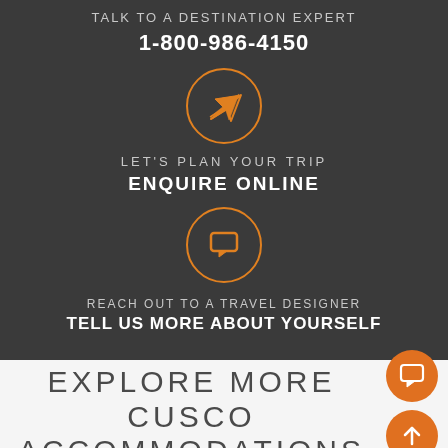TALK TO A DESTINATION EXPERT
1-800-986-4150
[Figure (illustration): Orange paper airplane icon inside an orange circle outline]
LET'S PLAN YOUR TRIP
ENQUIRE ONLINE
[Figure (illustration): Orange chat/message bubble icon inside an orange circle outline]
REACH OUT TO A TRAVEL DESIGNER
TELL US MORE ABOUT YOURSELF
EXPLORE MORE CUSCO ACCOMMODATIONS
[Figure (illustration): Orange circular button with chat icon (FAB)]
[Figure (illustration): Orange circular button with up arrow icon (FAB)]